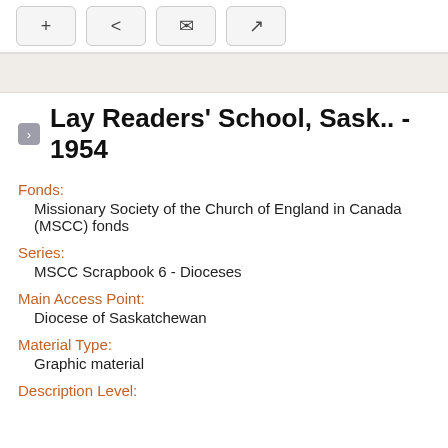[Figure (screenshot): Toolbar with four icon buttons: plus, share, envelope (email), and external link]
Lay Readers' School, Sask.. - 1954
Fonds:
Missionary Society of the Church of England in Canada (MSCC) fonds
Series:
MSCC Scrapbook 6 - Dioceses
Main Access Point:
Diocese of Saskatchewan
Material Type:
Graphic material
Description Level: